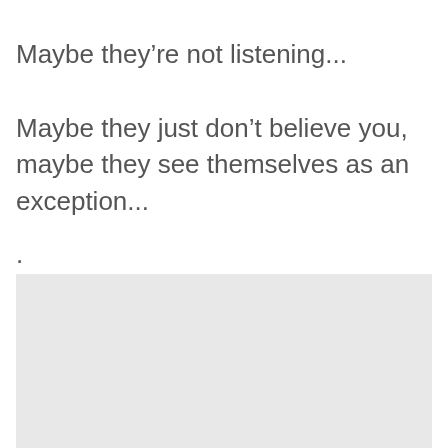Maybe they’re not listening...
Maybe they just don’t believe you, maybe they see themselves as an exception...
.
[Figure (other): A light gray rectangular box occupying the lower portion of the page, approximately the bottom 40% of the page area.]